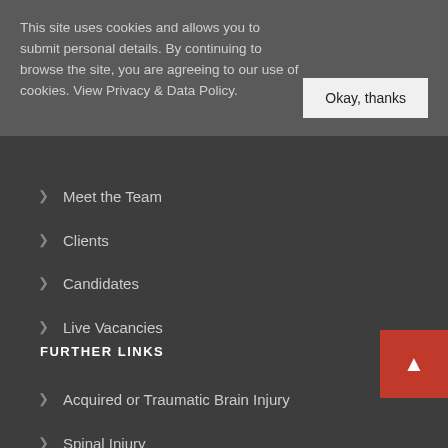This site uses cookies and allows you to submit personal details. By continuing to browse the site, you are agreeing to our use of cookies. View Privacy & Data Policy.
Okay, thanks
Meet the Team
Clients
Candidates
Live Vacancies
FURTHER LINKS
Acquired or Traumatic Brain Injury
Spinal Injury